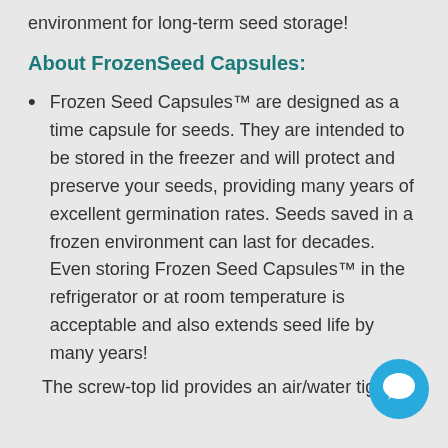environment for long-term seed storage!
About FrozenSeed Capsules:
Frozen Seed Capsules™ are designed as a time capsule for seeds. They are intended to be stored in the freezer and will protect and preserve your seeds, providing many years of excellent germination rates. Seeds saved in a frozen environment can last for decades. Even storing Frozen Seed Capsules™ in the refrigerator or at room temperature is acceptable and also e[xtends] seed life by many years!
The screw-top lid provides an air/water tight [seal...]